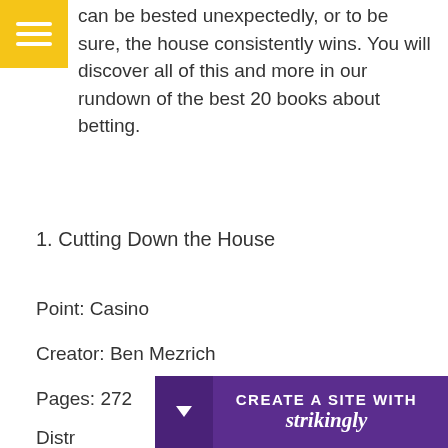can be bested unexpectedly, or to be sure, the house consistently wins. You will discover all of this and more in our rundown of the best 20 books about betting.
1. Cutting Down the House
Point: Casino
Creator: Ben Mezrich
Pages: 272
Distr
[Figure (other): Strikingly website builder promotional banner at the bottom of the page: purple background with dropdown arrow icon on left and text 'CREATE A SITE WITH strikingly']